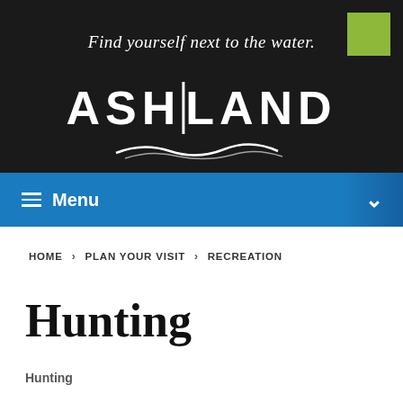[Figure (logo): Ashland city website header with black background, italic tagline 'Find yourself next to the water.', ASHLAND logo text with wave graphic, and a green square in top right corner]
Menu
HOME > PLAN YOUR VISIT > RECREATION
Hunting
Hunting